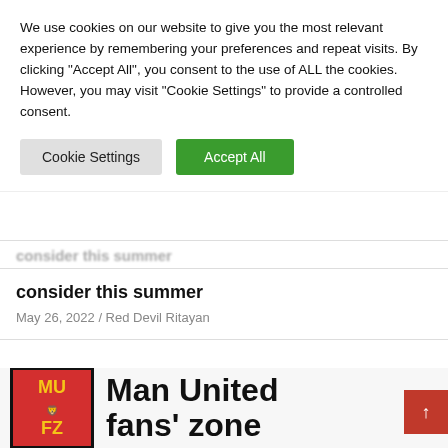We use cookies on our website to give you the most relevant experience by remembering your preferences and repeat visits. By clicking "Accept All", you consent to the use of ALL the cookies. However, you may visit "Cookie Settings" to provide a controlled consent.
Cookie Settings | Accept All
consider this summer
May 26, 2022 / Red Devil Ritayan
[Figure (logo): Man United fans' zone logo — red rectangle with black border, yellow letters MU FZ and a lion emblem, next to bold black text reading 'Man United fans' zone']